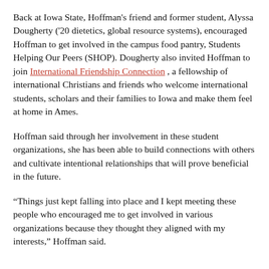Back at Iowa State, Hoffman's friend and former student, Alyssa Dougherty ('20 dietetics, global resource systems), encouraged Hoffman to get involved in the campus food pantry, Students Helping Our Peers (SHOP). Dougherty also invited Hoffman to join International Friendship Connection , a fellowship of international Christians and friends who welcome international students, scholars and their families to Iowa and make them feel at home in Ames.
Hoffman said through her involvement in these student organizations, she has been able to build connections with others and cultivate intentional relationships that will prove beneficial in the future.
“Things just kept falling into place and I kept meeting these people who encouraged me to get involved in various organizations because they thought they aligned with my interests,” Hoffman said.